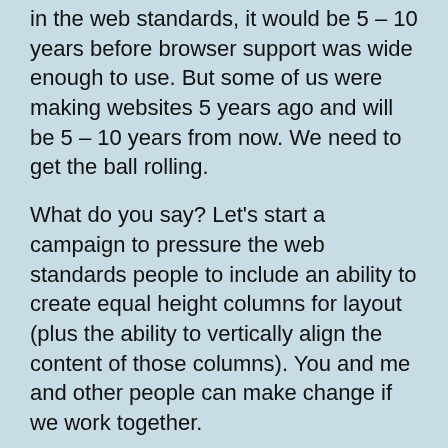in the web standards, it would be 5 – 10 years before browser support was wide enough to use. But some of us were making websites 5 years ago and will be 5 – 10 years from now. We need to get the ball rolling.
What do you say? Let's start a campaign to pressure the web standards people to include an ability to create equal height columns for layout (plus the ability to vertically align the content of those columns). You and me and other people can make change if we work together.
Another avenue that could be tried would be to lobby browser vendors to include such functionality. Sometimes features get included in browsers before they become part of the CSS specifications. If we could get a browser maker (I use Opera and made such a post over there recently) to create a proof of concept, maybe some other browser vendors will take notice and include the equal height column